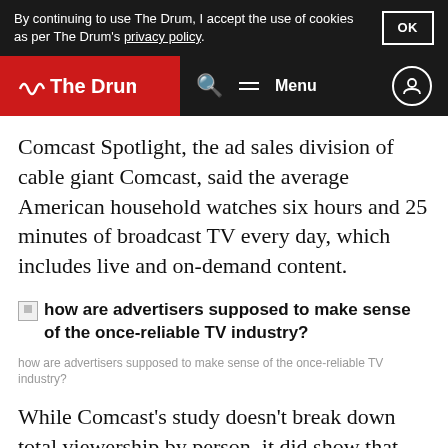By continuing to use The Drum, I accept the use of cookies as per The Drum's privacy policy.
[Figure (screenshot): The Drum website navigation bar with logo, search, menu and user icon]
Comcast Spotlight, the ad sales division of cable giant Comcast, said the average American household watches six hours and 25 minutes of broadcast TV every day, which includes live and on-demand content.
[Figure (photo): Broken image placeholder for: how are advertisers supposed to make sense of the once-reliable TV industry?]
how are advertisers supposed to make sense of the once-reliable TV industry?
While Comcast's study doesn't break down total viewership by person, it did show that household